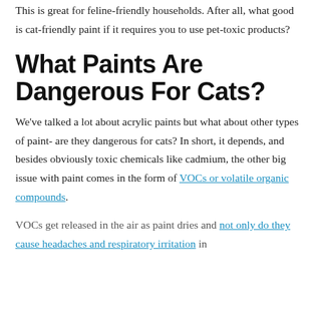This is great for feline-friendly households. After all, what good is cat-friendly paint if it requires you to use pet-toxic products?
What Paints Are Dangerous For Cats?
We've talked a lot about acrylic paints but what about other types of paint- are they dangerous for cats? In short, it depends, and besides obviously toxic chemicals like cadmium, the other big issue with paint comes in the form of VOCs or volatile organic compounds.
VOCs get released in the air as paint dries and not only do they cause headaches and respiratory irritation in